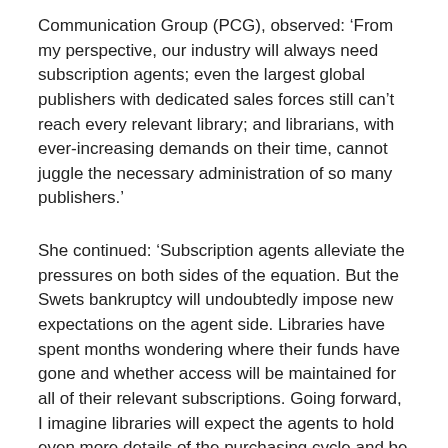Communication Group (PCG), observed: ‘From my perspective, our industry will always need subscription agents; even the largest global publishers with dedicated sales forces still can’t reach every relevant library; and librarians, with ever-increasing demands on their time, cannot juggle the necessary administration of so many publishers.’
She continued: ‘Subscription agents alleviate the pressures on both sides of the equation. But the Swets bankruptcy will undoubtedly impose new expectations on the agent side. Libraries have spent months wondering where their funds have gone and whether access will be maintained for all of their relevant subscriptions. Going forward, I imagine libraries will expect the agents to hold even more details of the purchasing cycle and be more forthcoming in the process.’
Powell of EBSCO observed: ‘At EBSCO, we believe we are providing an excellent service for our subscription